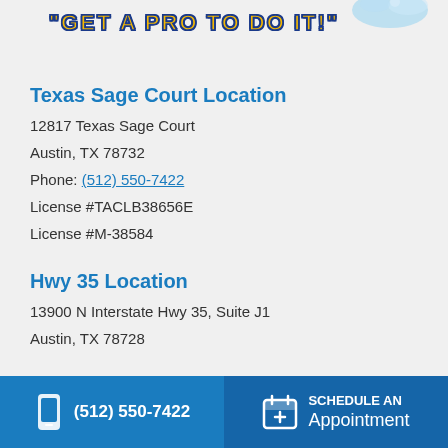[Figure (logo): Car wash/service logo with water splash at top right]
"GET A PRO TO DO IT!"
Texas Sage Court Location
12817 Texas Sage Court
Austin, TX 78732
Phone: (512) 550-7422
License #TACLB38656E
License #M-38584
Hwy 35 Location
13900 N Interstate Hwy 35, Suite J1
Austin, TX 78728
(512) 550-7422   SCHEDULE AN Appointment